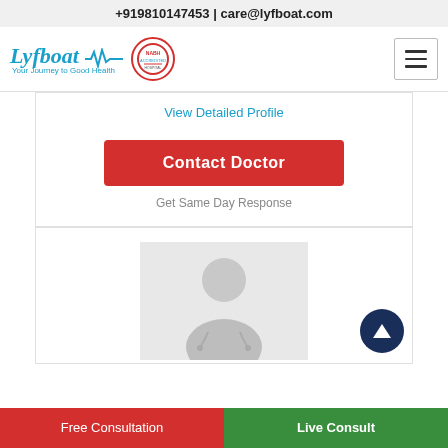+919810147453 | care@lyfboat.com
[Figure (logo): Lyfboat logo with tagline 'Your Journey to Good Health', a heartbeat wave graphic, and a circular NABH accreditation badge]
View Detailed Profile
Contact Doctor
Get Same Day Response
[Figure (photo): Generic doctor silhouette placeholder image (grey background with doctor figure)]
Free Consultation
Live Consult